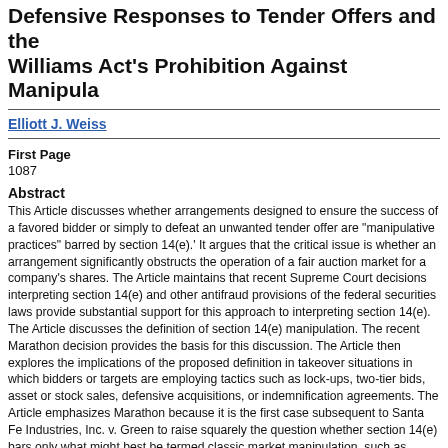Defensive Responses to Tender Offers and the Williams Act's Prohibition Against Manipulative Practices
Elliott J. Weiss
First Page
1087
Abstract
This Article discusses whether arrangements designed to ensure the success of a favored bidder or simply to defeat an unwanted tender offer are "manipulative practices" barred by section 14(e).' It argues that the critical issue is whether an arrangement significantly obstructs the operation of a fair auction market for a company's shares. The Article maintains that recent Supreme Court decisions interpreting section 14(e) and other antifraud provisions of the federal securities laws provide substantial support for this approach to interpreting section 14(e). The Article discusses the definition of section 14(e) manipulation. The recent Marathon decision provides the basis for this discussion. The Article then explores the implications of the proposed definition in takeover situations in which bidders or targets are employing tactics such as lock-ups, two-tier bids, asset or stock sales, defensive acquisitions, or indemnification agreements. The Article emphasizes Marathon because it is the first case subsequent to Santa Fe Industries, Inc. v. Green to raise squarely the question whether section 14(e) bars only what might best be termed classic market manipulation, such as simultaneous purchases and sales of securities at different prices, or whether it prohibits certain other arrangements as well. Prior to Santa Fe two federal district